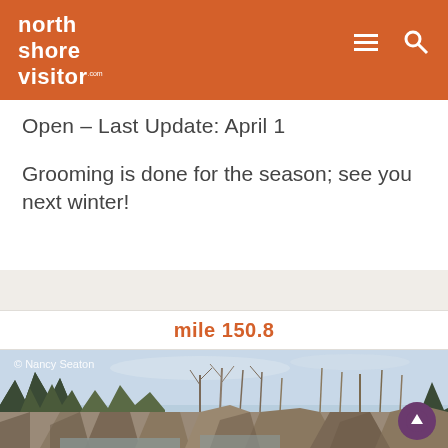north shore visitor .com
Open – Last Update: April 1
Grooming is done for the season; see you next winter!
mile 150.8
[Figure (photo): Outdoor nature photo of rocky cliffs and a waterfall with bare trees and evergreens in background, overcast sky. Copyright Nancy Seaton.]